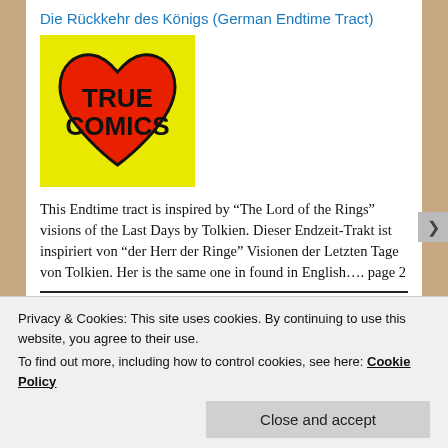Die Rückkehr des Königs (German Endtime Tract)
[Figure (logo): True Comics logo: red heart shape on yellow background with bold text 'TRUE COMICS' in black]
This Endtime tract is inspired by “The Lord of the Rings” visions of the Last Days by Tolkien. Dieser Endzeit-Trakt ist inspiriert von “der Herr der Ringe” Visionen der Letzten Tage von Tolkien. Her is the same one in found in English…. page 2
Privacy & Cookies: This site uses cookies. By continuing to use this website, you agree to their use.
To find out more, including how to control cookies, see here: Cookie Policy
Close and accept